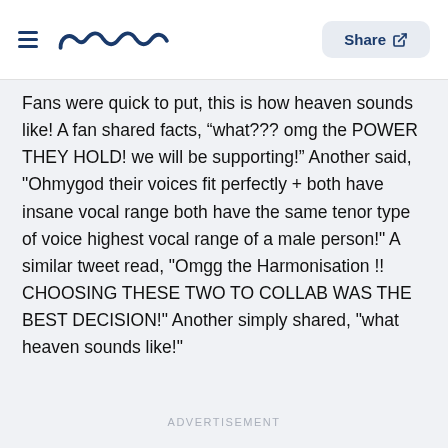meaww — Share
Fans were quick to put, this is how heaven sounds like! A fan shared facts, “what??? omg the POWER THEY HOLD! we will be supporting!” Another said, "Ohmygod their voices fit perfectly + both have insane vocal range both have the same tenor type of voice highest vocal range of a male person!" A similar tweet read, "Omgg the Harmonisation !! CHOOSING THESE TWO TO COLLAB WAS THE BEST DECISION!" Another simply shared, "what heaven sounds like!"
ADVERTISEMENT